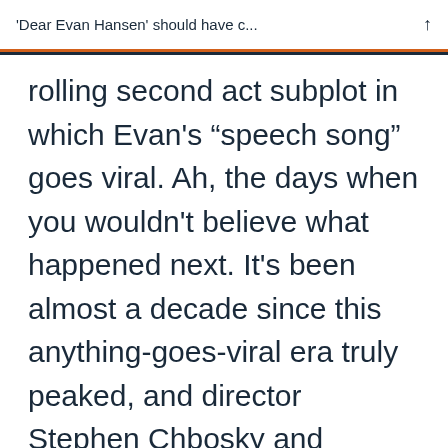'Dear Evan Hansen' should have c...
rolling second act subplot in which Evan’s “speech song” goes viral. Ah, the days when you wouldn’t believe what happened next. It’s been almost a decade since this anything-goes-viral era truly peaked, and director Stephen Chbosky and Levenson (who returns for the screenplay) had an opportunity here to subvert this idea with something unique and